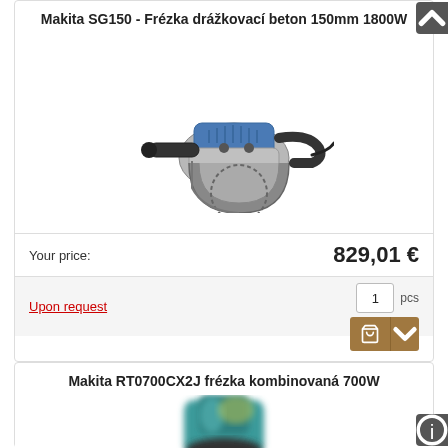Makita SG150 - Frézka drážkovací beton 150mm 1800W
[Figure (photo): Makita SG150 concrete groove cutting machine, grey and blue power tool with circular blade guard and dual handles]
Your price:
829,01 €
Upon request
1 pcs
Makita RT0700CX2J frézka kombinovaná 700W
[Figure (photo): Makita RT0700CX2J combination router, teal/blue power tool, partially visible at bottom of page]